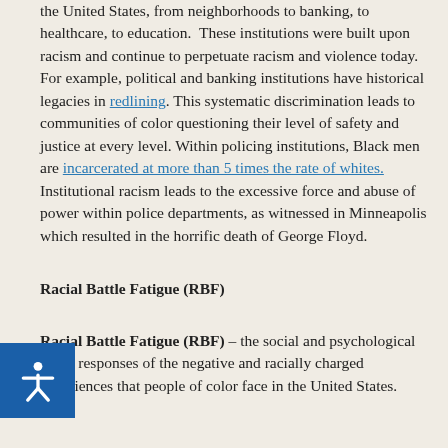the United States, from neighborhoods to banking, to healthcare, to education. These institutions were built upon racism and continue to perpetuate racism and violence today. For example, political and banking institutions have historical legacies in redlining. This systematic discrimination leads to communities of color questioning their level of safety and justice at every level. Within policing institutions, Black men are incarcerated at more than 5 times the rate of whites. Institutional racism leads to the excessive force and abuse of power within police departments, as witnessed in Minneapolis which resulted in the horrific death of George Floyd.
Racial Battle Fatigue (RBF)
Racial Battle Fatigue (RBF) – the social and psychological stress responses of the negative and racially charged experiences that people of color face in the United States.